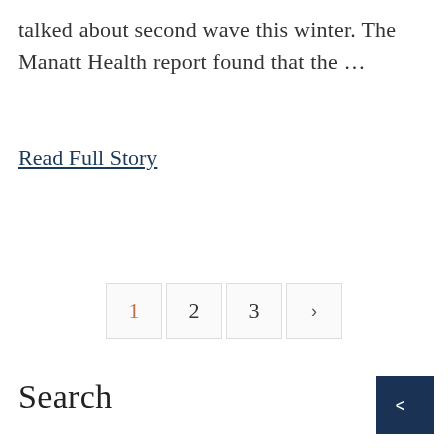talked about second wave this winter. The Manatt Health report found that the …
Read Full Story
1  2  3  >
Search